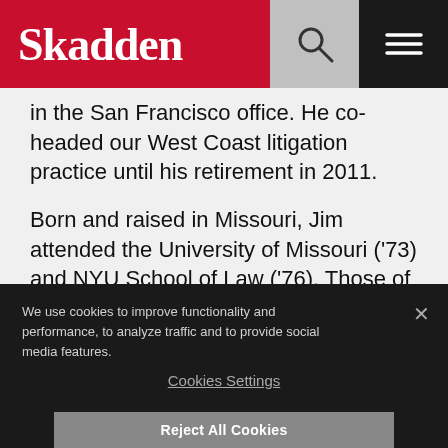Skadden
in the San Francisco office. He co-headed our West Coast litigation practice until his retirement in 2011.
Born and raised in Missouri, Jim attended the University of Missouri ('73) and NYU School of Law ('76). Those of us who grew up with him and under his mentorship will remember Jim not only
We use cookies to improve functionality and performance, to analyze traffic and to provide social media features.
Cookies Settings
Reject All Cookies